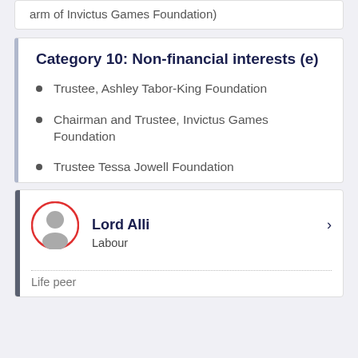arm of Invictus Games Foundation)
Category 10: Non-financial interests (e)
Trustee, Ashley Tabor-King Foundation
Chairman and Trustee, Invictus Games Foundation
Trustee Tessa Jowell Foundation
Lord Alli
Labour
Life peer